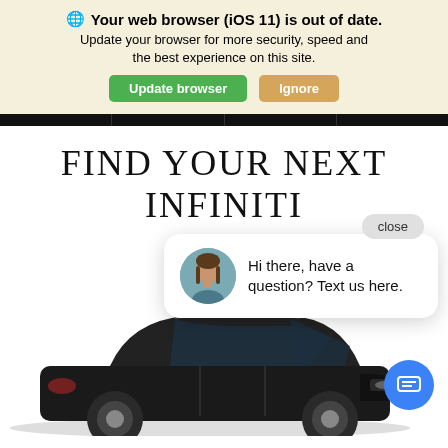🌐 Your web browser (iOS 11) is out of date. Update your browser for more security, speed and the best experience on this site. [Update browser] [Ignore]
FIND YOUR NEXT INFINITI
[Figure (screenshot): Screenshot of a car dealership website showing a browser update notification banner at the top, a large headline 'FIND YOUR NEXT INFINITI', a chat popup with a female avatar saying 'Hi there, have a question? Text us here.' with a close button, and a black Infiniti sedan at the bottom with a blue chat FAB button.]